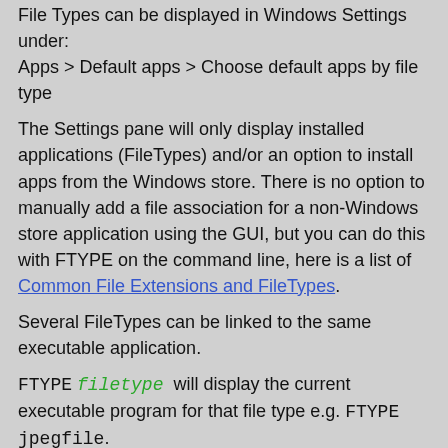File Types can be displayed in Windows Settings under: Apps > Default apps > Choose default apps by file type
The Settings pane will only display installed applications (FileTypes) and/or an option to install apps from the Windows store. There is no option to manually add a file association for a non-Windows store application using the GUI, but you can do this with FTYPE on the command line, here is a list of Common File Extensions and FileTypes.
Several FileTypes can be linked to the same executable application.
FTYPE filetype will display the current executable program for that file type e.g. FTYPE jpegfile.
FTYPE without any parameters will display all FileTypes and the executable program for each.
More than one file extension can be associated with the same File Type. e.g. both the extension .JPG and the extension .JPEG can